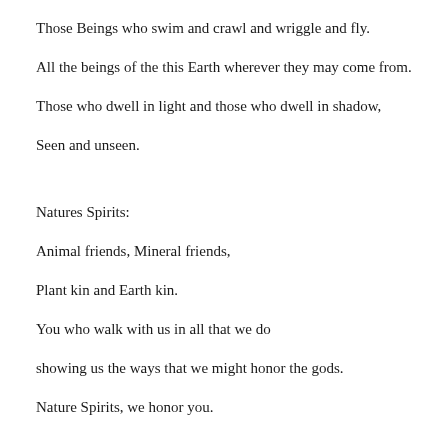Those Beings who swim and crawl and wriggle and fly.
All the beings of the this Earth wherever they may come from.
Those who dwell in light and those who dwell in shadow,
Seen and unseen.
Natures Spirits:
Animal friends, Mineral friends,
Plant kin and Earth kin.
You who walk with us in all that we do
showing us the ways that we might honor the gods.
Nature Spirits, we honor you.